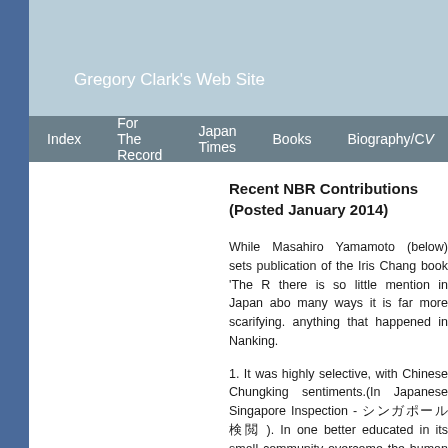Gregory Clark's Web Site
Index  For The Record  Japan Times  Books  Biography/CV
Recent NBR Contributions
(Posted January 2014)
While Masahiro Yamamoto (below) sets the publication of the Iris Chang book 'The R... there is so little mention in Japan abo... many ways it is far more scarifying. anything that happened in Nanking.
1. It was highly selective, with Chinese Chungking sentiments.(In Japanese Singapore Inspection - シンガポール検閲 ). In one better educated in its small community overcome the human capital loss.